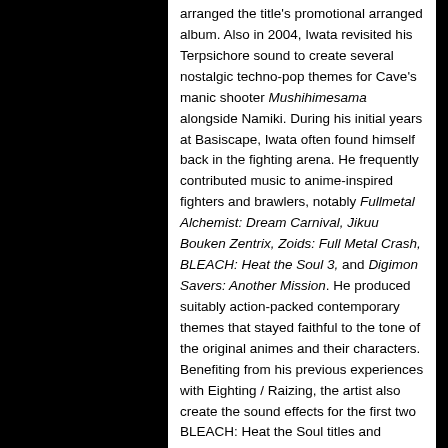arranged the title's promotional arranged album. Also in 2004, Iwata revisited his Terpsichore sound to create several nostalgic techno-pop themes for Cave's manic shooter Mushihimesama alongside Namiki. During his initial years at Basiscape, Iwata often found himself back in the fighting arena. He frequently contributed music to anime-inspired fighters and brawlers, notably Fullmetal Alchemist: Dream Carnival, Jikuu Bouken Zentrix, Zoids: Full Metal Crash, BLEACH: Heat the Soul 3, and Digimon Savers: Another Mission. He produced suitably action-packed contemporary themes that stayed faithful to the tone of the original animes and their characters. Benefiting from his previous experiences with Eighting / Raizing, the artist also create the sound effects for the first two BLEACH: Heat the Soul titles and Rurouni Kenshin: Enjou! Kyoto Rinne.